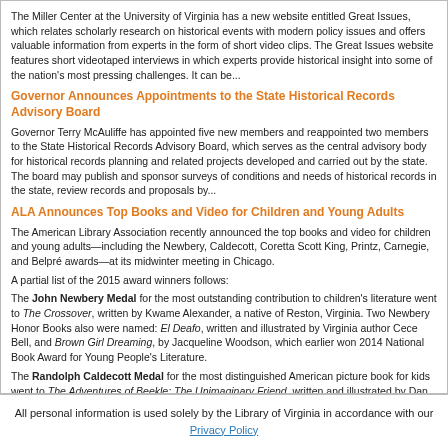The Miller Center at the University of Virginia has a new website entitled Great Issues, which relates scholarly research on historical events with modern policy issues and offers valuable information from experts in the form of short video clips. The Great Issues website features short videotaped interviews in which experts provide historical insight into some of the nation's most pressing challenges. It can be...
Governor Announces Appointments to the State Historical Records Advisory Board
Governor Terry McAuliffe has appointed five new members and reappointed two members to the State Historical Records Advisory Board, which serves as the central advisory body for historical records planning and related projects developed and carried out by the state. The board may publish and sponsor surveys of conditions and needs of historical records in the state, review records and proposals by...
ALA Announces Top Books and Video for Children and Young Adults
The American Library Association recently announced the top books and video for children and young adults—including the Newbery, Caldecott, Coretta Scott King, Printz, Carnegie, and Belpré awards—at its midwinter meeting in Chicago.
A partial list of the 2015 award winners follows:
The John Newbery Medal for the most outstanding contribution to children's literature went to The Crossover, written by Kwame Alexander, a native of Reston, Virginia. Two Newbery Honor Books also were named: El Deafo, written and illustrated by Virginia author Cece Bell, and Brown Girl Dreaming, by Jacqueline Woodson, which earlier won 2014 National Book Award for Young People's Literature.
The Randolph Caldecott Medal for the most distinguished American picture book for kids went to The Adventures of Beekle: The Unimaginary Friend, written and illustrated by Dan Santat. Six Caldecott Honor Books also were named: Nana in the City, illustrated...
All personal information is used solely by the Library of Virginia in accordance with our Privacy Policy